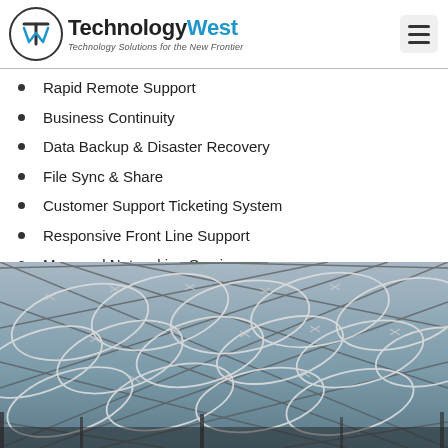TechnologyWest — Technology Solutions for the New Frontier
Rapid Remote Support
Business Continuity
Data Backup & Disaster Recovery
File Sync & Share
Customer Support Ticketing System
Responsive Front Line Support
Managed Networking Services
[Figure (photo): Black and white photograph of razor wire / concertina wire on a chain-link fence, symbolizing security.]